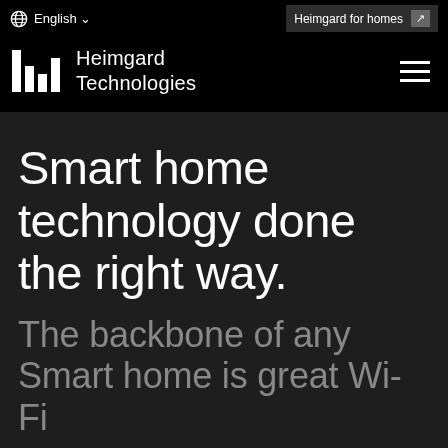English ▾
Heimgard for homes
[Figure (logo): Heimgard Technologies logo with vertical bar graphic and company name]
Smart home technology done the right way.
The backbone of any Smart home is great Wi-Fi